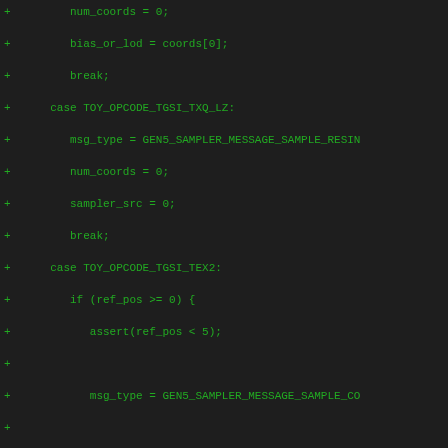Code diff showing C code for TGSI opcode handling in a GPU sampler, including cases for TOY_OPCODE_TGSI_TXQ_LZ, TOY_OPCODE_TGSI_TEX2, and TOY_OPCODE_TGSI_TXB2